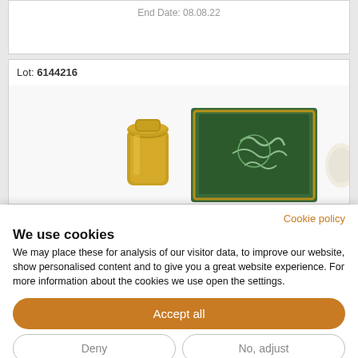End Date: 08.08.22
Lot: 6144216
[Figure (photo): Product lot image showing a golden cylindrical object and a green framed box/display with decorative markings]
Cookie policy
We use cookies
We may place these for analysis of our visitor data, to improve our website, show personalised content and to give you a great website experience. For more information about the cookies we use open the settings.
Accept all
Deny
No, adjust